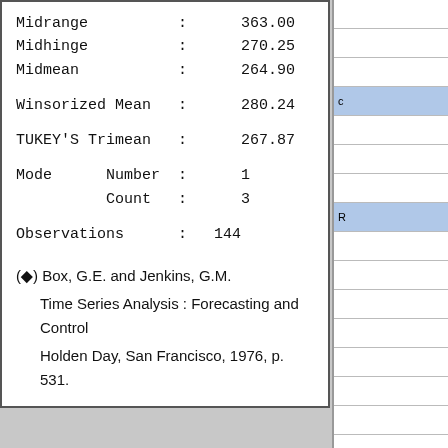Midrange    :    363.00
Midhinge    :    270.25
Midmean     :    264.90

Winsorized Mean  :    280.24

TUKEY'S Trimean  :    267.87

Mode      Number  :    1
          Count   :    3

Observations     :    144
(*) Box, G.E. and Jenkins, G.M.
   Time Series Analysis : Forecasting and Control
   Holden Day, San Francisco, 1976, p. 531.